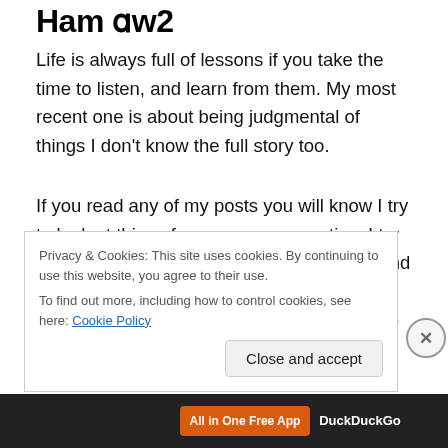Ham tw2
Life is always full of lessons if you take the time to listen, and learn from them. My most recent one is about being judgmental of things I don't know the full story too.
If you read any of my posts you will know I try to look at things from every perspective. I try to be respectful of everyone. My motto is, and continues to be, as long as what you are doing or who you are does not bring harm to children, animals, others, or yourself…then do you. I'm also human, which means I form thoughts based on
Privacy & Cookies: This site uses cookies. By continuing to use this website, you agree to their use.
To find out more, including how to control cookies, see here: Cookie Policy
Close and accept
[Figure (screenshot): Dark advertisement bar at bottom showing 'All in One Free App' button and DuckDuckGo branding]